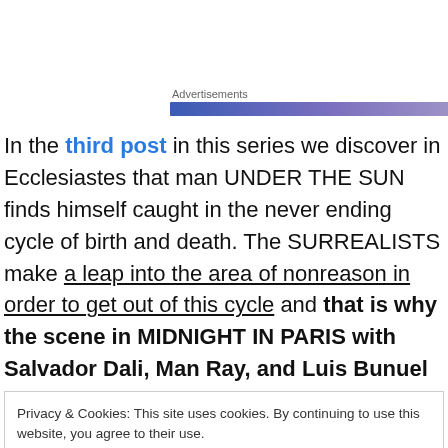Advertisements
In the third post in this series we discover in Ecclesiastes that man UNDER THE SUN finds himself caught in the never ending cycle of birth and death. The SURREALISTS make a leap into the area of nonreason in order to get out of this cycle and that is why the scene in MIDNIGHT IN PARIS with Salvador Dali, Man Ray, and Luis Bunuel
Privacy & Cookies: This site uses cookies. By continuing to use this website, you agree to their use.
To find out more, including how to control cookies, see here: Cookie Policy
Close and accept